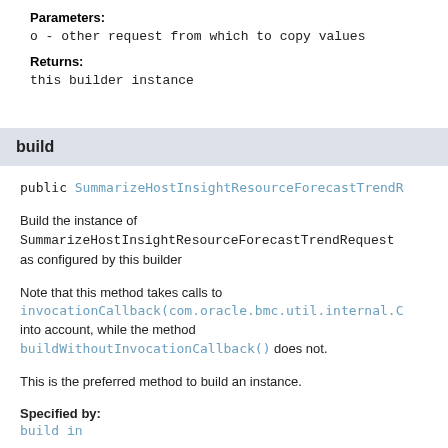Parameters:
o - other request from which to copy values
Returns:
this builder instance
build
public SummarizeHostInsightResourceForecastTrendR
Build the instance of SummarizeHostInsightResourceForecastTrendRequest as configured by this builder
Note that this method takes calls to invocationCallback(com.oracle.bmc.util.internal.C into account, while the method buildWithoutInvocationCallback() does not.
This is the preferred method to build an instance.
Specified by:
build in